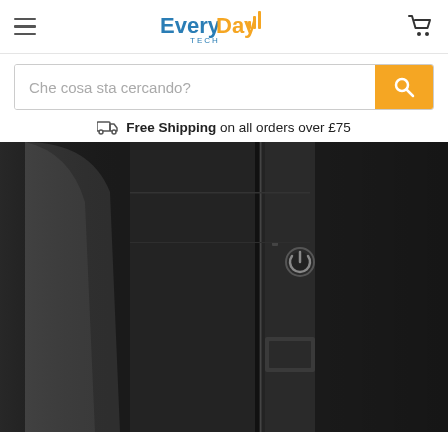EveryDay Tech – navigation header with hamburger menu and cart icon
Che cosa sta cercando?
Free Shipping on all orders over £75
[Figure (photo): Close-up photo of a dark/black electronic device (appears to be a computer tower or UPS) showing power button and panel details]